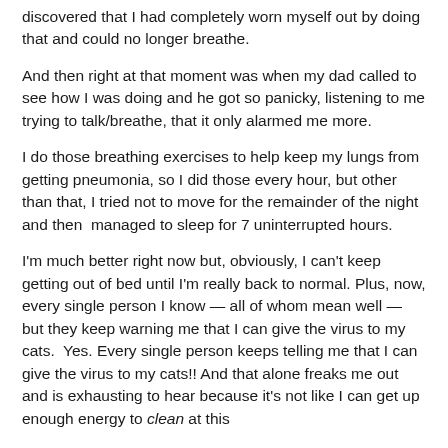discovered that I had completely worn myself out by doing that and could no longer breathe.
And then right at that moment was when my dad called to see how I was doing and he got so panicky, listening to me trying to talk/breathe, that it only alarmed me more.
I do those breathing exercises to help keep my lungs from getting pneumonia, so I did those every hour, but other than that, I tried not to move for the remainder of the night and then  managed to sleep for 7 uninterrupted hours.
I'm much better right now but, obviously, I can't keep getting out of bed until I'm really back to normal. Plus, now, every single person I know — all of whom mean well — but they keep warning me that I can give the virus to my cats.  Yes. Every single person keeps telling me that I can give the virus to my cats!! And that alone freaks me out and is exhausting to hear because it's not like I can get up enough energy to clean at this